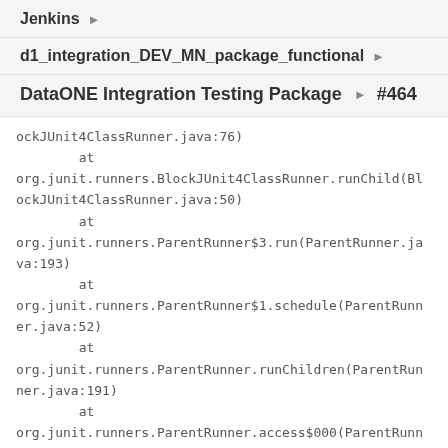Jenkins ▶
d1_integration_DEV_MN_package_functional ▶
DataONE Integration Testing Package ▶ #464
ockJUnit4ClassRunner.java:76)
        at
org.junit.runners.BlockJUnit4ClassRunner.runChild(BlockJUnit4ClassRunner.java:50)
        at
org.junit.runners.ParentRunner$3.run(ParentRunner.java:193)
        at
org.junit.runners.ParentRunner$1.schedule(ParentRunner.java:52)
        at
org.junit.runners.ParentRunner.runChildren(ParentRunner.java:191)
        at
org.junit.runners.ParentRunner.access$000(ParentRunner.java:42)
        at